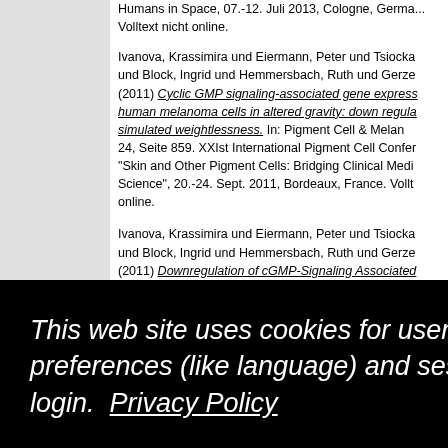Humans in Space, 07.-12. Juli 2013, Cologne, Germany. Volltext nicht online.
Ivanova, Krassimira und Eiermann, Peter und Tsiocka und Block, Ingrid und Hemmersbach, Ruth und Gerze (2011) Cyclic GMP signaling-associated gene expression human melanoma cells in altered gravity: down regulation simulated weightlessness. In: Pigment Cell & Melanoma 24, Seite 859. XXIst International Pigment Cell Conference "Skin and Other Pigment Cells: Bridging Clinical Medicine and Science", 20.-24. Sept. 2011, Bordeaux, France. Volltext nicht online.
Ivanova, Krassimira und Eiermann, Peter und Tsiocka und Block, Ingrid und Hemmersbach, Ruth und Gerze (2011) Downregulation of cGMP-Signaling Associated Expression in Himan Melanoma Cells at Simulated Weightlessness. 18th IAA Human in Space Symposium. (Nichtlicht) Volltext
er und Tsiocka response to gr In: Abstr.Vol., Pigment Cell e, UK. Volltext
er und Tsiocka Ruth und Ge ive guanylyl c melanoma ce simulated weightlessness. Acta Astronautica, 7-8, Sei 655. Elsevier. doi: 10.1016/jactaastro.2010.08.02. Volltext
This web site uses cookies for user preferences (like language) and session login. Privacy Policy
Accept Cookies